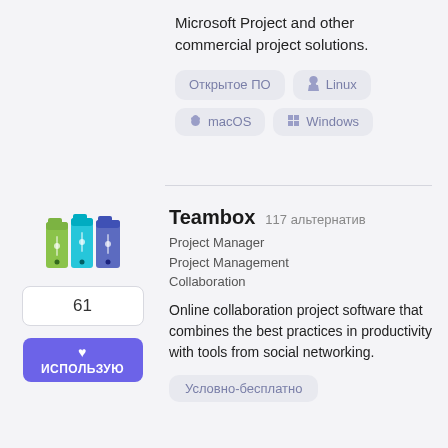Microsoft Project and other commercial project solutions.
Открытое ПО
Linux
macOS
Windows
[Figure (logo): Teambox app icon — three colorful binder folders (green, teal, blue)]
61
ИСПОЛЬЗУЮ
Teambox  117 альтернатив
Project Manager
Project Management
Collaboration
Online collaboration project software that combines the best practices in productivity with tools from social networking.
Условно-бесплатно